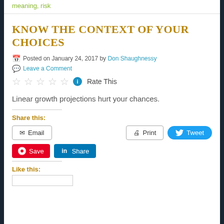meaning, risk
KNOW THE CONTEXT OF YOUR CHOICES
Posted on January 24, 2017 by Don Shaughnessy
Leave a Comment
[Figure (other): Five empty star rating widgets followed by an info button and 'Rate This' text]
Linear growth projections hurt your chances.
Share this:
Email  Print  Tweet  Save  Share
Like this: